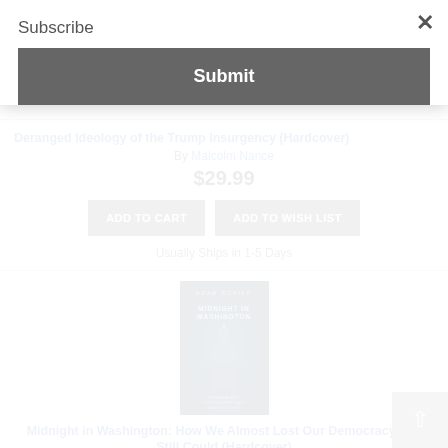Subscribe
Submit
Deranged Ideology of the Trump Insurgency (Hardcover)
By Malcolm Nance
$29.99
ADD TO CART
ADD TO WISH LIST
Usually Ships in 1-5 Days
[Figure (photo): Book cover of 'Midnight in Washington: How We Almost Lost Our Democracy and Still Could' by Adam Schiff — dark cover with blue-lit Capitol building]
Midnight in Washington: How We Almost Lost Our Democracy and Still Could (Hardcover)